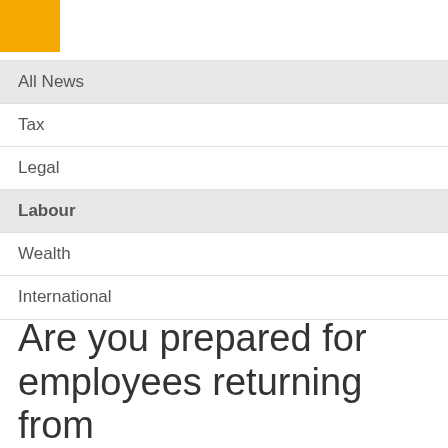[Figure (logo): Yellow/orange square logo in top-left corner]
All News
Tax
Legal
Labour
Wealth
International
Are you prepared for employees returning from